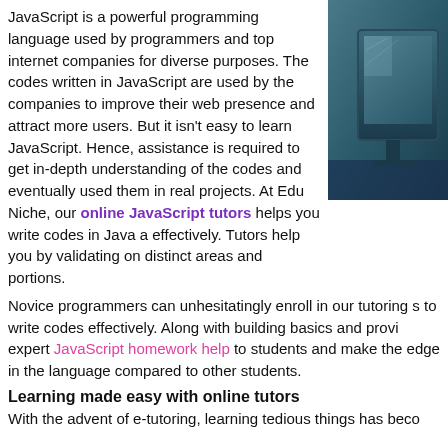JavaScript is a powerful programming language used by programmers and top internet companies for diverse purposes. The codes written in JavaScript are used by the companies to improve their web presence and attract more users. But it isn't easy to learn JavaScript. Hence, assistance is required to get in-depth understanding of the codes and eventually used them in real projects. At Edu Niche, our online JavaScript tutors helps you write codes in Java a effectively. Tutors help you by validating on distinct areas and portions.
[Figure (photo): Blue-toned photo of a computer monitor on a desk]
Novice programmers can unhesitatingly enroll in our tutoring s to write codes effectively. Along with building basics and provi expert JavaScript homework help to students and make the edge in the language compared to other students.
Learning made easy with online tutors
With the advent of e-tutoring, learning tedious things has beco